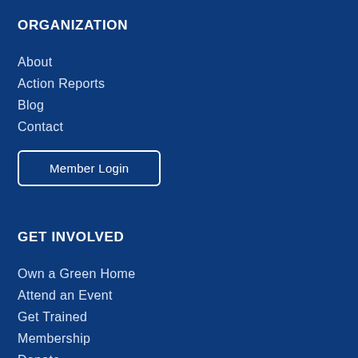ORGANIZATION
About
Action Reports
Blog
Contact
Member Login
GET INVOLVED
Own a Green Home
Attend an Event
Get Trained
Membership
Donate